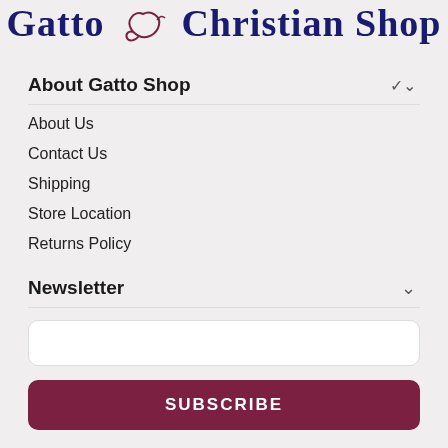[Figure (logo): Gatto Christian Shop logo with navy blue serif text and a decorative swirl/fish symbol between the words 'Gatto' and 'Christian Shop']
About Gatto Shop
About Us
Contact Us
Shipping
Store Location
Returns Policy
Newsletter
SUBSCRIBE